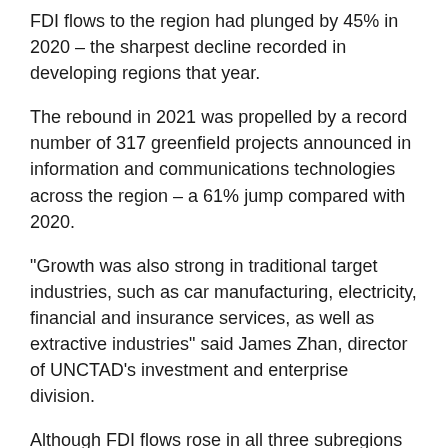FDI flows to the region had plunged by 45% in 2020 – the sharpest decline recorded in developing regions that year.
The rebound in 2021 was propelled by a record number of 317 greenfield projects announced in information and communications technologies across the region – a 61% jump compared with 2020.
“Growth was also strong in traditional target industries, such as car manufacturing, electricity, financial and insurance services, as well as extractive industries” said James Zhan, director of UNCTAD’s investment and enterprise division.
Although FDI flows rose in all three subregions in Latin America and the Caribbean (excluding